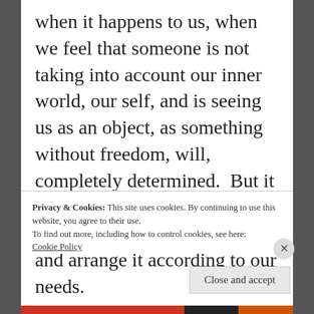when it happens to us, when we feel that someone is not taking into account our inner world, our self, and is seeing us as an object, as something without freedom, will, completely determined.  But it is through this mode that we can get to grips with the world and arrange it according to our needs.
Privacy & Cookies: This site uses cookies. By continuing to use this website, you agree to their use.
To find out more, including how to control cookies, see here: Cookie Policy
Close and accept